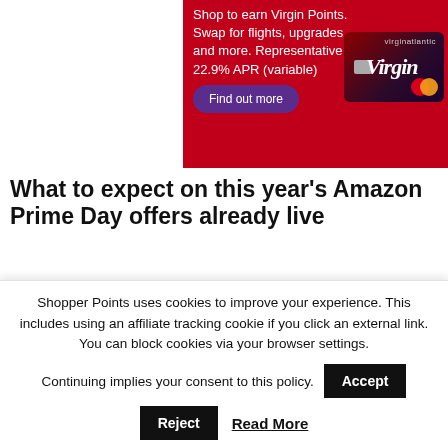[Figure (advertisement): Virgin Atlantic credit card advertisement on red background. Text: 'Shop to earn Virgin Points. Swap for flights, upgrades and more. Representative 22.9% APR (variable)'. Purple 'Find out more' button. Image of red/dark Virgin Atlantic Mastercard credit card on right side.]
What to expect on this year's Amazon Prime Day offers already live
9 JULY 2018 BY ANIKA
Amazon has revealed information about this year's Prime Day.
Shopper Points uses cookies to improve your experience. This includes using an affiliate tracking cookie if you click an external link. You can block cookies via your browser settings.
Continuing implies your consent to this policy.
Accept
Reject
Read More